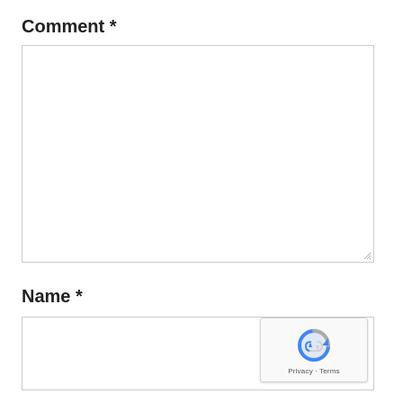Comment *
[Figure (screenshot): Empty comment textarea input field with resize handle in bottom right corner]
Name *
[Figure (screenshot): Empty name input field with reCAPTCHA badge overlay in bottom right showing Privacy and Terms links]